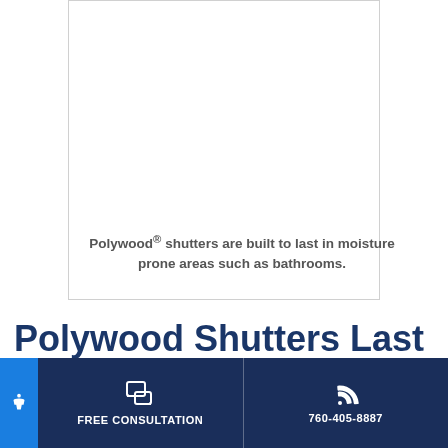[Figure (photo): White bordered image box showing a bathroom area with polywood shutters]
Polywood® shutters are built to last in moisture prone areas such as bathrooms.
Polywood Shutters Last
FREE CONSULTATION | 760-405-8887